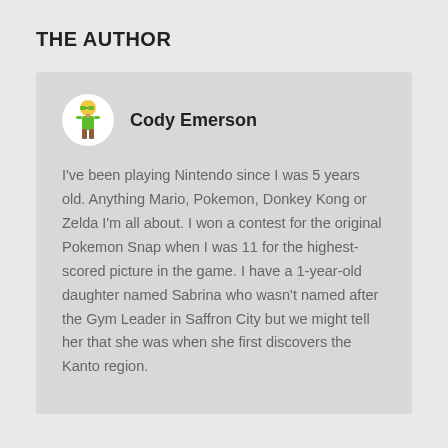THE AUTHOR
Cody Emerson
I've been playing Nintendo since I was 5 years old. Anything Mario, Pokemon, Donkey Kong or Zelda I'm all about. I won a contest for the original Pokemon Snap when I was 11 for the highest-scored picture in the game. I have a 1-year-old daughter named Sabrina who wasn't named after the Gym Leader in Saffron City but we might tell her that she was when she first discovers the Kanto region.